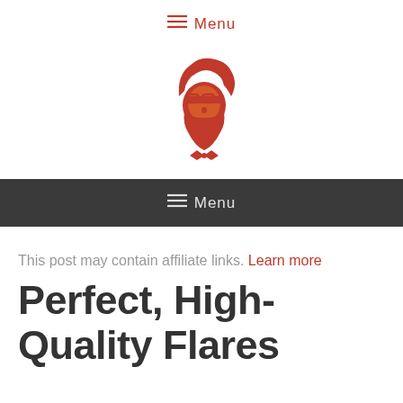≡ Menu
[Figure (logo): Orange illustrated hipster man face logo with beard and styled hair]
≡ Menu
This post may contain affiliate links. Learn more
Perfect, High-Quality Flares